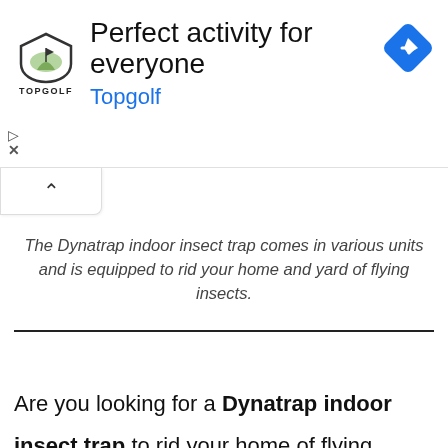[Figure (other): Topgolf advertisement banner with logo, headline 'Perfect activity for everyone', brand name 'Topgolf' in blue, and a blue diamond navigation icon in the top right corner.]
The Dynatrap indoor insect trap comes in various units and is equipped to rid your home and yard of flying insects.
Are you looking for a Dynatrap indoor insect trap to rid your home of flying